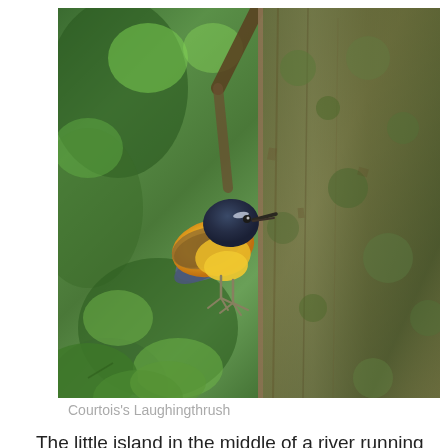[Figure (photo): A Courtois's Laughingthrush bird perched on the bark of a large moss-covered tree trunk, surrounded by green foliage. The bird has a dark grey-blue head, orange-yellow breast and belly, brown wings, and appears to be clinging to the rough bark. The right side of the image shows the textured, moss-covered tree trunk.]
Courtois's Laughingthrush
The little island in the middle of a river running by a small rural village where we saw the Courtois's Laughingthrush was quite interesting.  The large trees on the island where